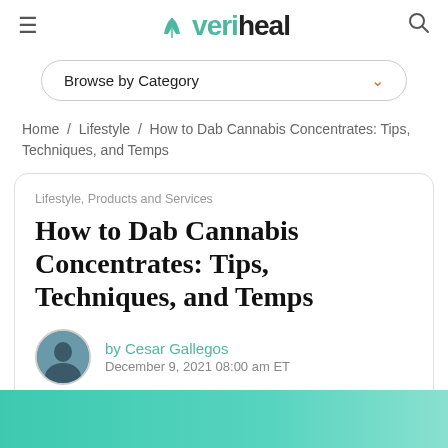veriheal
Browse by Category
Home / Lifestyle / How to Dab Cannabis Concentrates: Tips, Techniques, and Temps
Lifestyle, Products and Services
How to Dab Cannabis Concentrates: Tips, Techniques, and Temps
by Cesar Gallegos
December 9, 2021 08:00 am ET
[Figure (photo): Teal/green gradient image strip at the bottom of the page]